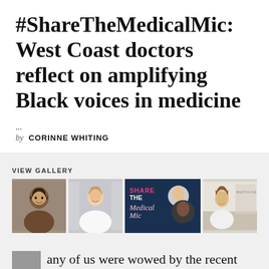#ShareTheMedicalMic: West Coast doctors reflect on amplifying Black voices in medicine
...
by CORINNE WHITING
VIEW GALLERY
[Figure (photo): Gallery of four photos: a young woman with dark hair smiling, a woman in white coat smiling, a Share The Medical Mic promotional graphic with two doctors, and a woman in white standing at a reception desk.]
any of us were wowed by the recent